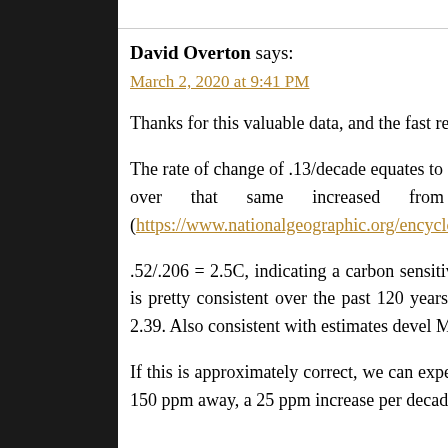David Overton says:
March 2, 2020 at 9:41 PM
Thanks for this valuable data, and the fast reporting each m
The rate of change of .13/decade equates to .52 C over reported. The Keeling curve indicates that over that same increased from about 340 ppm to 410 ppm, a (https://www.nationalgeographic.org/encyclopedia/keeling
.52/.206 = 2.5C, indicating a carbon sensitivity of approx warming for a doubling of CO2. This is pretty consistent over the past 120 years, 1.1 degree C and an increase in C 46%. 1.1/.46 = 2.39. Also consistent with estimates devel MIT.
If this is approximately correct, we can expect to reach a before CO2 doubles (560 ppm). That is 150 ppm away, a 25 ppm increase per decade, we will reach that level by